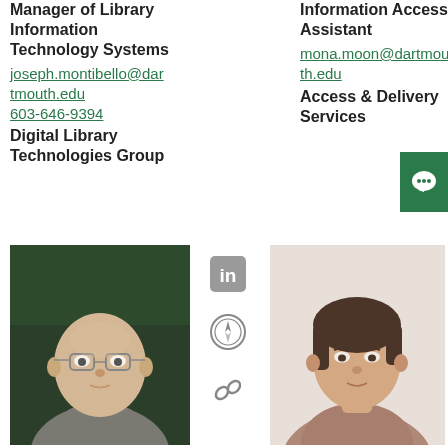Manager of Library Information Technology Systems
joseph.montibello@dartmouth.edu
603-646-9394
Digital Library Technologies Group
Information Access Assistant
mona.moon@dartmouth.edu
Access & Delivery Services
[Figure (photo): Headshot of bald man wearing glasses and a grey polo shirt, outdoor dark green background]
[Figure (photo): Headshot of woman with short brown hair wearing a muted pink/mauve top, light background]